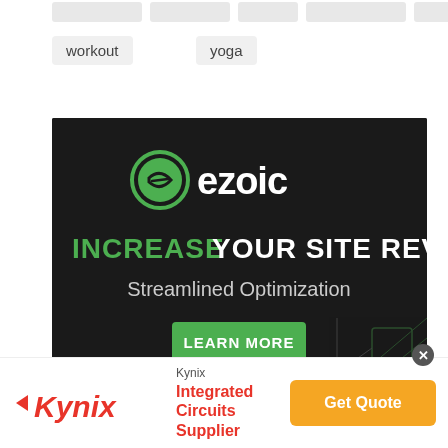workout
yoga
[Figure (infographic): Ezoic advertisement banner with dark background. Green Ezoic logo at top. Text: INCREASE YOUR SITE REVENUE / Streamlined Optimization. Green LEARN MORE button. Decorative circuit-like graphic at bottom right.]
[Figure (infographic): Kynix advertisement banner: Kynix logo with arrow icon, text 'Kynix / Integrated Circuits Supplier', orange Get Quote button. Close X button at top right.]